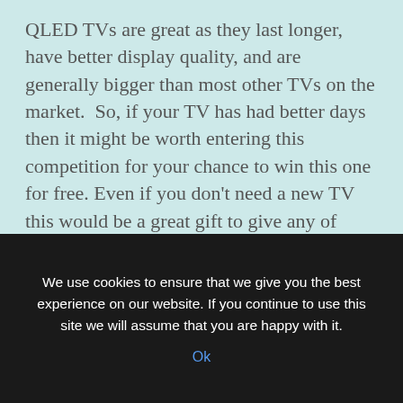QLED TVs are great as they last longer, have better display quality, and are generally bigger than most other TVs on the market.  So, if your TV has had better days then it might be worth entering this competition for your chance to win this one for free. Even if you don't need a new TV this would be a great gift to give any of your friends and family if you won.... Read the rest
[Figure (screenshot): Screenshot of a webpage showing garden/plant images with a share arrow icon on the right]
We use cookies to ensure that we give you the best experience on our website. If you continue to use this site we will assume that you are happy with it.
Ok